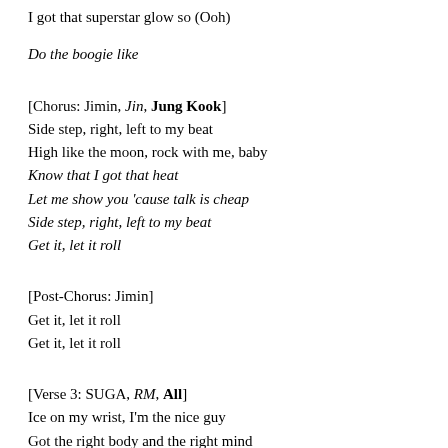I got that superstar glow so (Ooh)
Do the boogie like
[Chorus: Jimin, Jin, Jung Kook]
Side step, right, left to my beat
High like the moon, rock with me, baby
Know that I got that heat
Let me show you 'cause talk is cheap
Side step, right, left to my beat
Get it, let it roll
[Post-Chorus: Jimin]
Get it, let it roll
Get it, let it roll
[Verse 3: SUGA, RM, All]
Ice on my wrist, I'm the nice guy
Got the right body and the right mind
Rollin' up to party, got the right vibe
Smooth like (Butter), hate us (Love us)